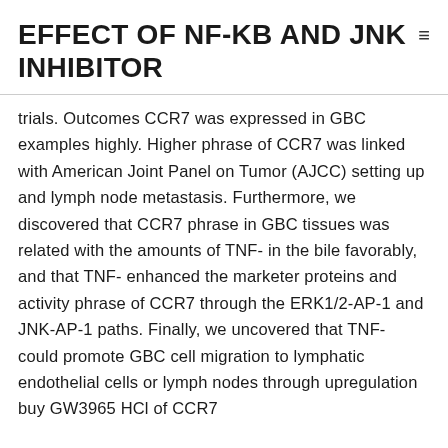EFFECT OF NF-KB AND JNK INHIBITOR
trials. Outcomes CCR7 was expressed in GBC examples highly. Higher phrase of CCR7 was linked with American Joint Panel on Tumor (AJCC) setting up and lymph node metastasis. Furthermore, we discovered that CCR7 phrase in GBC tissues was related with the amounts of TNF- in the bile favorably, and that TNF- enhanced the marketer proteins and activity phrase of CCR7 through the ERK1/2-AP-1 and JNK-AP-1 paths. Finally, we uncovered that TNF- could promote GBC cell migration to lymphatic endothelial cells or lymph nodes through upregulation buy GW3965 HCl of CCR7